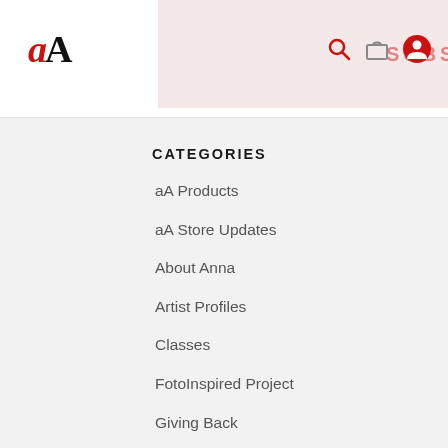aA [logo] with search, cart, user icons
[Figure (screenshot): Pink banner area with 'SUBSCRIBE NOW' text partially visible]
CATEGORIES
aA Products
aA Store Updates
About Anna
Artist Profiles
Classes
FotoInspired Project
Giving Back
Inspiration
Press
Resources
Special Offers
Tech & Gadgets